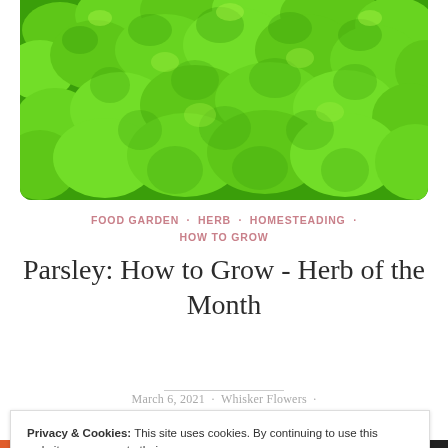[Figure (photo): Close-up photograph of lush green curly parsley leaves filling the frame]
FOOD GARDEN · HERB · HOMESTEADING · HOW TO GROW
Parsley: How to Grow - Herb of the Month
March 6, 2021 · Whisker Flowers ·
Privacy & Cookies: This site uses cookies. By continuing to use this website, you agree to their use.
To find out more, including how to control cookies, see here: Cookie Policy
Close and accept